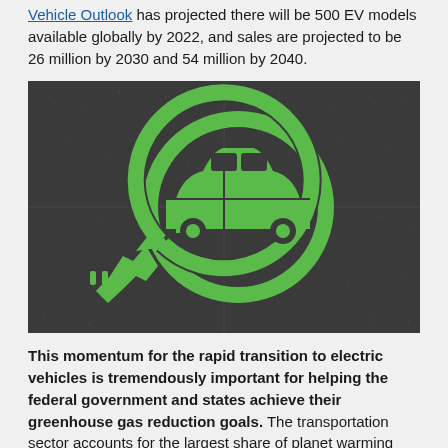Vehicle Outlook has projected there will be 500 EV models available globally by 2022, and sales are projected to be 26 million by 2030 and 54 million by 2040.
[Figure (photo): Green EV charging symbol painted on dark asphalt — a car silhouette inside a circular arrow with a plug icon on the left, all in bright green.]
This momentum for the rapid transition to electric vehicles is tremendously important for helping the federal government and states achieve their greenhouse gas reduction goals. The transportation sector accounts for the largest share of planet warming emissions and air pollution. This is true here in Connecticut, where the state's